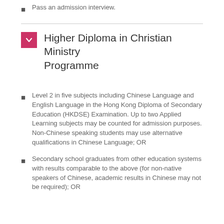Pass an admission interview.
Higher Diploma in Christian Ministry Programme
Level 2 in five subjects including Chinese Language and English Language in the Hong Kong Diploma of Secondary Education (HKDSE) Examination. Up to two Applied Learning subjects may be counted for admission purposes. Non-Chinese speaking students may use alternative qualifications in Chinese Language; OR
Secondary school graduates from other education systems with results comparable to the above (for non-native speakers of Chinese, academic results in Chinese may not be required); OR